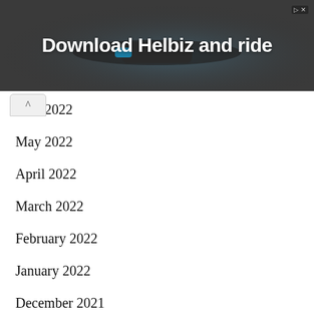[Figure (screenshot): Advertisement banner for Helbiz app showing bicycle handlebar in dark background with text 'Download Helbiz and ride']
June 2022
May 2022
April 2022
March 2022
February 2022
January 2022
December 2021
November 2021
October 2021
September 2021